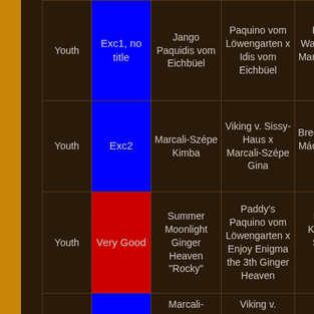| Class | Grade | Name | Parents | Breeder/Owner |
| --- | --- | --- | --- | --- |
| Youth | Exc1, no title | Jango Paquidis vom Eichbüel | Paquino vom Löwengarten x Idis vom Eichbüel | Katharina Walder Owner: Mar Ihle, Kathar Walder |
| Youth | Exc2 | Marcali-Szépe Kimba | Viking v. Sissy-Haus x Marcali-Szépe Gina | Breeder: Katalin Mác Owner: Csi Török |
| Youth | Very Good | Summer Moonlight Ginger Heaven "Rocky" | Paddy's Paquino vom Löwengarten x Enjoy Enigma the 3th Ginger Heaven | Breeder: Dagmara Korzeniews Spedding Owner: Veronika Hegedűs |
|  |  | Marcali- | Viking v. | Breeder: |